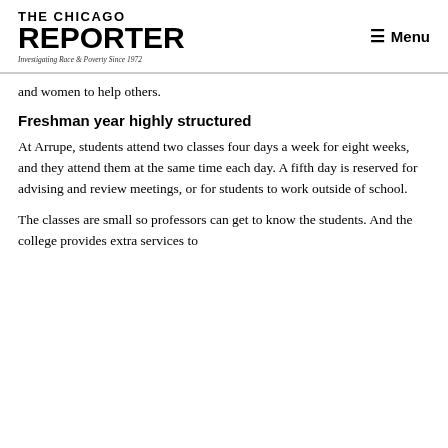THE CHICAGO REPORTER — Investigating Race & Poverty Since 1972 — Menu
and women to help others.
Freshman year highly structured
At Arrupe, students attend two classes four days a week for eight weeks, and they attend them at the same time each day. A fifth day is reserved for advising and review meetings, or for students to work outside of school.
The classes are small so professors can get to know the students. And the college provides extra services to